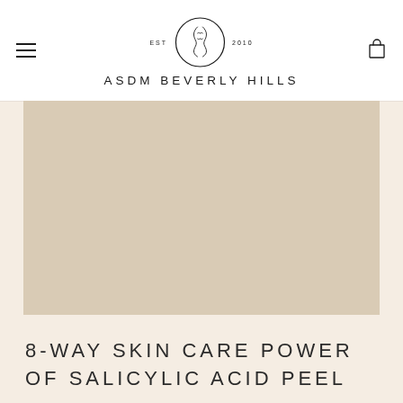EST 2010 ASDM BEVERLY HILLS
[Figure (illustration): Beige/tan product image placeholder rectangle]
8-WAY SKIN CARE POWER OF SALICYLIC ACID PEEL